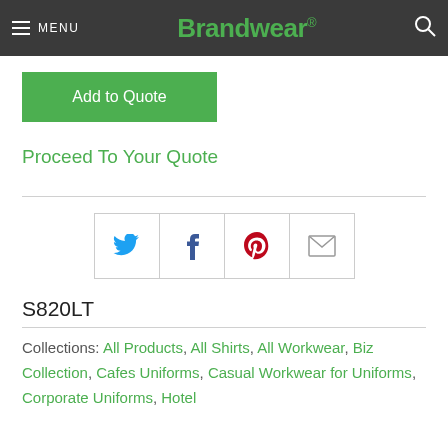MENU  Brandwear®
Add to Quote
Proceed To Your Quote
[Figure (infographic): Social share buttons: Twitter, Facebook, Pinterest, Email]
S820LT
Collections: All Products, All Shirts, All Workwear, Biz Collection, Cafes Uniforms, Casual Workwear for Uniforms, Corporate Uniforms, Hotel